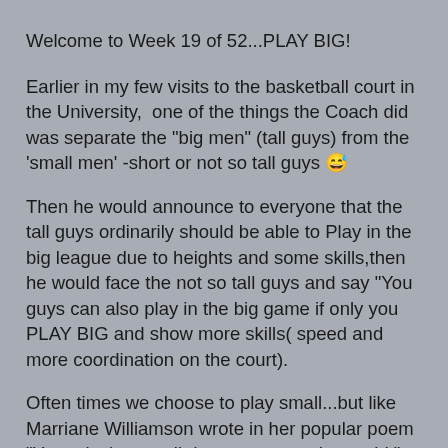Welcome to Week 19 of 52...PLAY BIG!
Earlier in my few visits to the basketball court in the University,  one of the things the Coach did was separate the "big men" (tall guys) from the 'small men' -short or not so tall guys 😅
Then he would announce to everyone that the tall guys ordinarily should be able to Play in the big league due to heights and some skills,then he would face the not so tall guys and say "You guys can also play in the big game if only you PLAY BIG and show more skills( speed and more coordination on the court).
Often times we choose to play small...but like Marriane Williamson wrote in her popular poem "Your playing small does not serve the world "
By choosing and daring to play big something happens.
When we choose to love more, learn more, earn more, and add more value to people, our works and our walks the